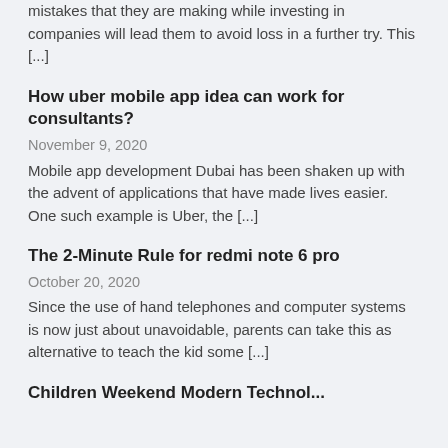mistakes that they are making while investing in companies will lead them to avoid loss in a further try. This [...]
How uber mobile app idea can work for consultants?
November 9, 2020
Mobile app development Dubai has been shaken up with the advent of applications that have made lives easier. One such example is Uber, the [...]
The 2-Minute Rule for redmi note 6 pro
October 20, 2020
Since the use of hand telephones and computer systems is now just about unavoidable, parents can take this as alternative to teach the kid some [...]
Children Weekend Modern Technol...